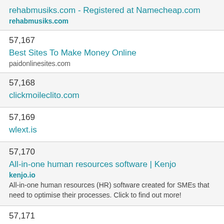rehabmusiks.com - Registered at Namecheap.com
rehabmusiks.com
57,167
Best Sites To Make Money Online
paidonlinesites.com
57,168
clickmoileclito.com
57,169
wlext.is
57,170
All-in-one human resources software | Kenjo
kenjo.io
All-in-one human resources (HR) software created for SMEs that need to optimise their processes. Click to find out more!
57,171